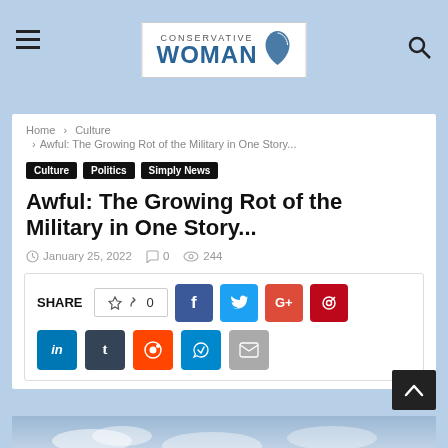Conservative Woman
Home > Culture > Awful: The Growing Rot of the Military in One Story...
Culture   Politics   Simply News
Awful: The Growing Rot of the Military in One Story...
January 25, 2022   0   244
SHARE   0   f   t   G+   Pinterest   in   t   Reddit   Telegram   Email
[Figure (photo): Photo of a person in military or outdoor setting with sky and clouds background]